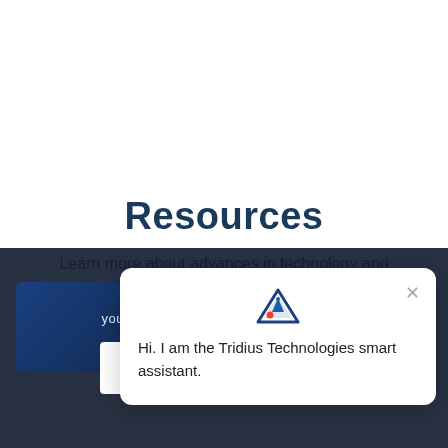Resources
Learn more about advances in technology and how Tridius leverages it for their clients.
[Figure (screenshot): Dark overlay section with cookie consent notice and a partially visible blue card image behind it.]
This site uses cookies.  you are agreeing to our use of cookies.
OK
Learn more
[Figure (infographic): Chat assistant popup with Tridius logo icon and message: Hi. I am the Tridius Technologies smart assistant.]
Hi. I am the Tridius Technologies smart assistant.